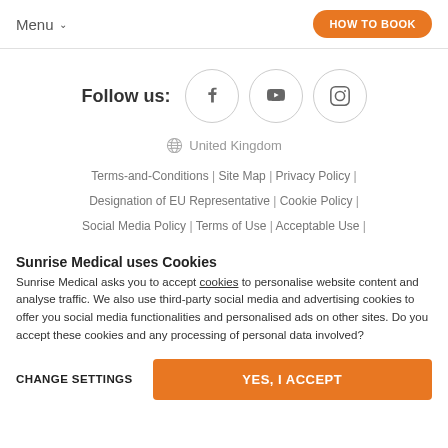Menu  HOW TO BOOK
Follow us:
[Figure (other): Social media icons: Facebook, YouTube, Instagram in circular bordered buttons]
United Kingdom
Terms-and-Conditions | Site Map | Privacy Policy | Designation of EU Representative | Cookie Policy | Social Media Policy | Terms of Use | Acceptable Use |
Sunrise Medical uses Cookies
Sunrise Medical asks you to accept cookies to personalise website content and analyse traffic. We also use third-party social media and advertising cookies to offer you social media functionalities and personalised ads on other sites. Do you accept these cookies and any processing of personal data involved?
CHANGE SETTINGS
YES, I ACCEPT